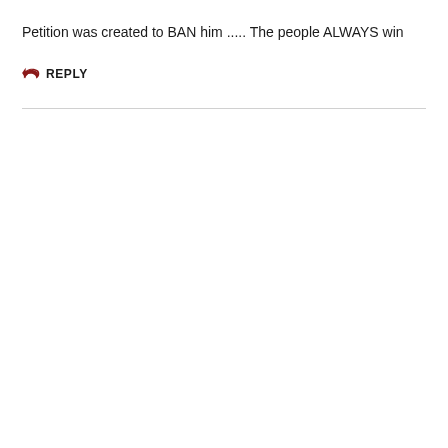Petition was created to BAN him ..... The people ALWAYS win
↩ REPLY